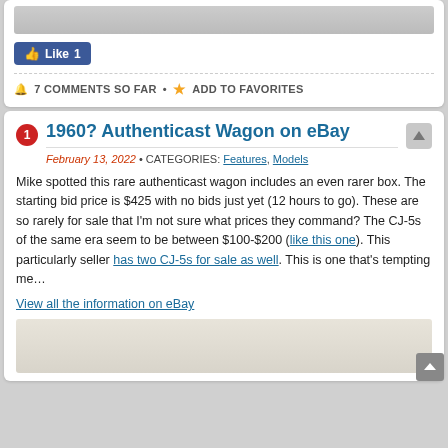[Figure (photo): Top cropped image strip, partially visible]
[Figure (other): Facebook Like button showing count of 1]
7 COMMENTS SO FAR • ADD TO FAVORITES
1960? Authenticast Wagon on eBay
February 13, 2022 • CATEGORIES: Features, Models
Mike spotted this rare authenticast wagon includes an even rarer box. The starting bid price is $425 with no bids just yet (12 hours to go). These are so rarely for sale that I'm not sure what prices they command? The CJ-5s of the same era seem to be between $100-$200 (like this one). This particularly seller has two CJ-5s for sale as well. This is one that's tempting me…
View all the information on eBay
[Figure (photo): Bottom image showing light-colored textured surface]